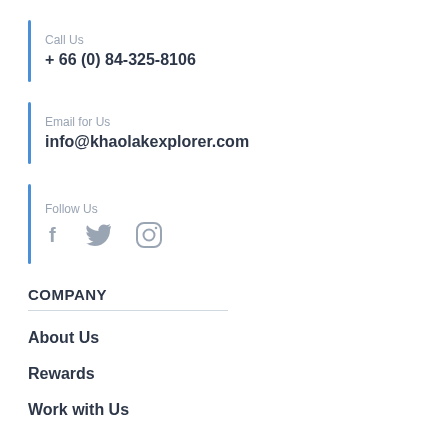Call Us
+ 66 (0) 84-325-8106
Email for Us
info@khaolakexplorer.com
Follow Us
[Figure (illustration): Social media icons: Facebook (f), Twitter (bird), Instagram (camera)]
COMPANY
About Us
Rewards
Work with Us